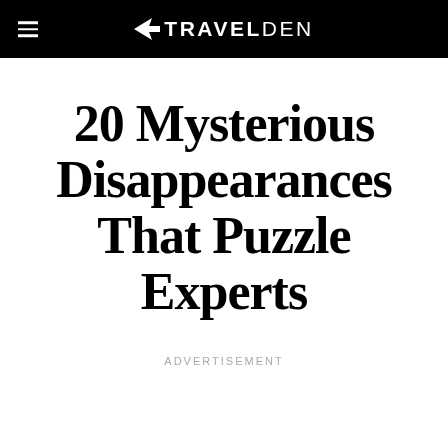TRAVELDEN
20 Mysterious Disappearances That Puzzle Experts
ADVERTISEMENT